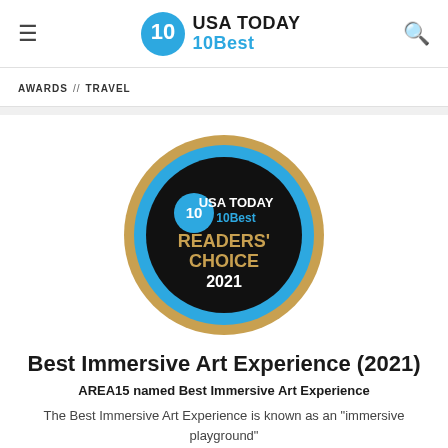USA TODAY 10Best
AWARDS // TRAVEL
[Figure (logo): USA TODAY 10Best Readers' Choice 2021 award badge — gold outer circle, blue ring, black center with 10Best logo, gold text READERS' CHOICE 2021]
Best Immersive Art Experience (2021)
AREA15 named Best Immersive Art Experience
The Best Immersive Art Experience is known as an "immersive playground"